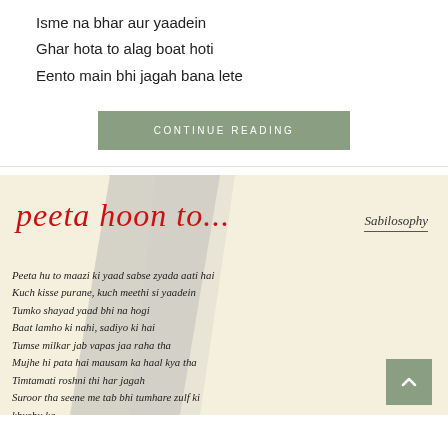Isme na bhar aur yaadein
Ghar hota to alag boat hoti
Eento main bhi jagah bana lete
CONTINUE READING
[Figure (illustration): Decorative background image for a poem post with gray brushstroke shapes on cream background, titled 'peeta hoon to...' in red cursive script with 'Sabilosophy' branding and handwritten-style poem text in italic serif.]
Peeta hu to maazi ki yaad sabse zyada aati hai
Kuch kisse purane, kuch meethi si yaadein
Tumko shayad yaad bhi na hogi
Baat lamho ki nahi, sadiyo ki hai
Tumse milkar jab vapas jaa raha tha
Mujhe hi pata hai mausam ka haal kya tha
Timtamati roshni thi har jagah
Suroor tha seene me tab bhi tumhare zulf ki
khusbu ka